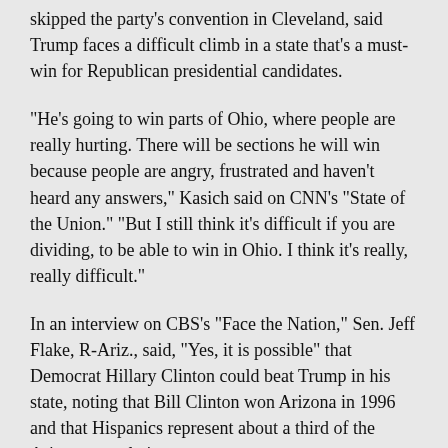skipped the party's convention in Cleveland, said Trump faces a difficult climb in a state that's a must-win for Republican presidential candidates.
"He's going to win parts of Ohio, where people are really hurting. There will be sections he will win because people are angry, frustrated and haven't heard any answers," Kasich said on CNN's "State of the Union." "But I still think it's difficult if you are dividing, to be able to win in Ohio. I think it's really, really difficult."
In an interview on CBS's "Face the Nation," Sen. Jeff Flake, R-Ariz., said, "Yes, it is possible" that Democrat Hillary Clinton could beat Trump in his state, noting that Bill Clinton won Arizona in 1996 and that Hispanics represent about a third of the Arizona population.
"You can't just throw platitudes out there about a wall or about Mexico paying for it and then be taken seriously here," Flake said.